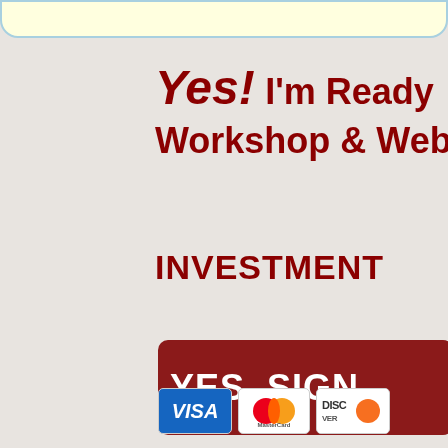Yes! I'm Ready Workshop & Web
INVESTMENT
[Figure (other): Dark red button with white text reading YES. SIGN]
[Figure (other): Payment card logos: VISA, MasterCard, Discover]